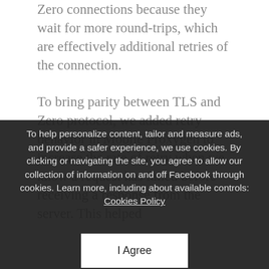Zero connections because they wait for more round-trips, which are effectively additional retries of the connection.
To bring parity between TLS and Zero protocol, we added retry behavior in Mobile Proxygen to increase the rate of retry when we know a request has failed before receiving a response from the server. This helped increase the reliability of Zero connections and... We... TLS... didn't see many instances of these in the wild, and they were isolated to only a few ASNs.
To help personalize content, tailor and measure ads, and provide a safer experience, we use cookies. By clicking or navigating the site, you agree to allow our collection of information on and off Facebook through cookies. Learn more, including about available controls: Cookies Policy
I Agree